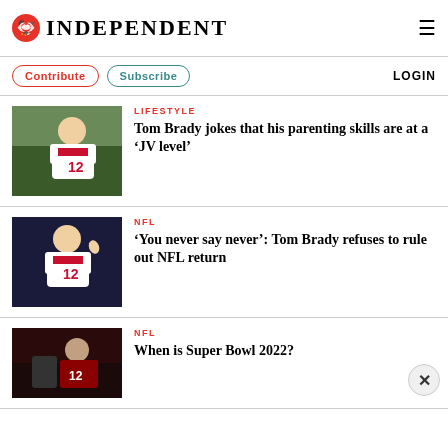INDEPENDENT
Contribute  Subscribe  LOGIN
[Figure (photo): Tom Brady smiling in Tampa Bay Buccaneers jersey number 12, on field]
LIFESTYLE
Tom Brady jokes that his parenting skills are at a ‘JV level’
[Figure (photo): Tom Brady in Buccaneers jersey number 12, waving on dark background]
NFL
‘You never say never’: Tom Brady refuses to rule out NFL return
[Figure (photo): Tom Brady in dark red jersey on field at night game]
NFL
When is Super Bowl 2022?